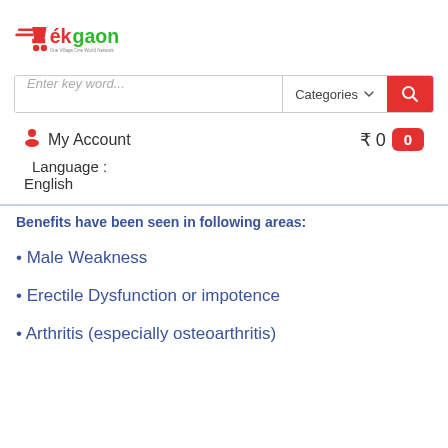[Figure (logo): ekgaon logo with red shopping cart icon and tagline 'One Village One World Network']
Enter key word...
Categories
My Account  ₹ 0  0
Language :
English
Benefits have been seen in following areas:
• Male Weakness
• Erectile Dysfunction or impotence
• Arthritis (especially osteoarthritis)